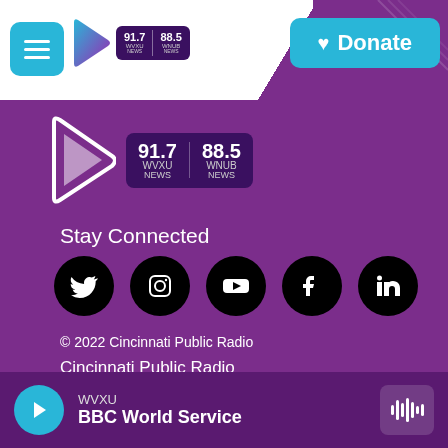[Figure (screenshot): WVXU/WNUB radio station website header with hamburger menu button, radio logo (91.7 WVXU NEWS / 88.5 WNUB NEWS), and cyan Donate button]
[Figure (logo): WVXU radio logo with play arrow icon and frequency boxes: 91.7 WVXU NEWS | 88.5 WNUB NEWS on purple background]
Stay Connected
[Figure (illustration): Row of five social media icon circles (black): Twitter, Instagram, YouTube, Facebook, LinkedIn]
© 2022 Cincinnati Public Radio
Cincinnati Public Radio
About WVXU
Program Schedule
[Figure (screenshot): Bottom player bar showing WVXU BBC World Service with cyan play button and waveform icon]